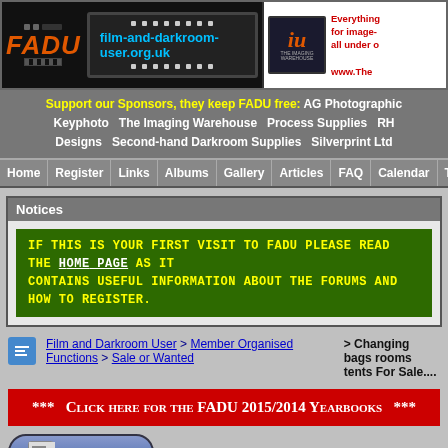[Figure (screenshot): FADU film-and-darkroom-user.org.uk banner logo with film strip design and The Imaging Warehouse logo on the right]
Support our Sponsors, they keep FADU free: AG Photographic Keyphoto The Imaging Warehouse Process Supplies RH Designs Second-hand Darkroom Supplies Silverprint Ltd
Home Register Links Albums Gallery Articles FAQ Calendar Today's
Notices
IF THIS IS YOUR FIRST VISIT TO FADU PLEASE READ THE HOME PAGE AS IT CONTAINS USEFUL INFORMATION ABOUT THE FORUMS AND HOW TO REGISTER.
Film and Darkroom User > Member Organised Functions > Sale or Wanted > Changing bags rooms tents For Sale....
*** CLICK HERE FOR THE FADU 2015/2014 YEARBOOKS ***
Post Reply
Thread Tools ▼  Search this Thread ▼  Display Modes ▼